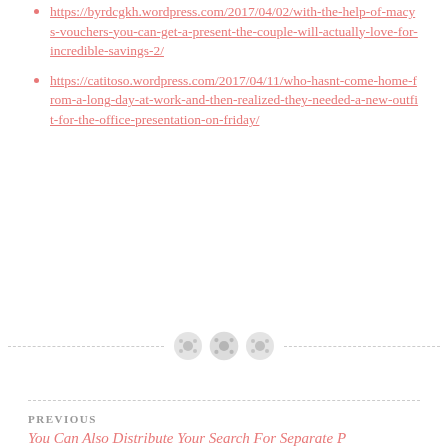https://byrdcgkh.wordpress.com/2017/04/02/with-the-help-of-macys-vouchers-you-can-get-a-present-the-couple-will-actually-love-for-incredible-savings-2/
https://catitoso.wordpress.com/2017/04/11/who-hasnt-come-home-from-a-long-day-at-work-and-then-realized-they-needed-a-new-outfit-for-the-office-presentation-on-friday/
[Figure (illustration): Decorative divider with three circular button-like icons in salmon/coral color on a dashed horizontal line]
PREVIOUS
You Can Also Distribute Your Search For Separate P…